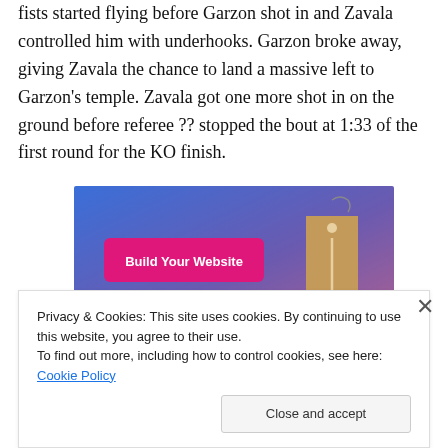fists started flying before Garzon shot in and Zavala controlled him with underhooks. Garzon broke away, giving Zavala the chance to land a massive left to Garzon's temple. Zavala got one more shot in on the ground before referee ?? stopped the bout at 1:33 of the first round for the KO finish.
[Figure (screenshot): Advertisement banner with blue-to-purple gradient background, a pink 'Build Your Website' button on the left, and a hanging price tag illustration on the right.]
Privacy & Cookies: This site uses cookies. By continuing to use this website, you agree to their use.
To find out more, including how to control cookies, see here: Cookie Policy

Close and accept